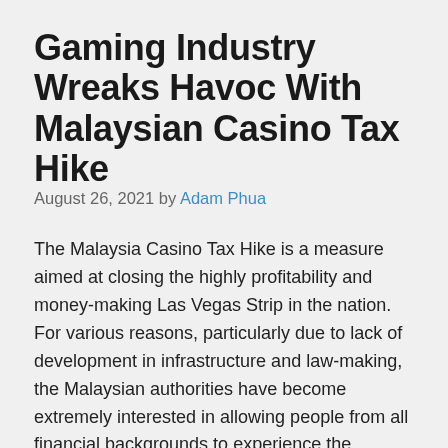Gaming Industry Wreaks Havoc With Malaysian Casino Tax Hike
August 26, 2021 by Adam Phua
The Malaysia Casino Tax Hike is a measure aimed at closing the highly profitability and money-making Las Vegas Strip in the nation. For various reasons, particularly due to lack of development in infrastructure and law-making, the Malaysian authorities have become extremely interested in allowing people from all financial backgrounds to experience the excitement of the … Read more